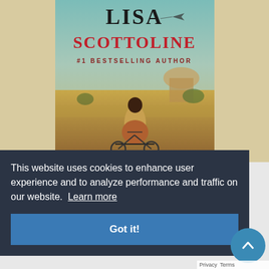[Figure (illustration): Book cover for a novel by Lisa Scottoline. Top portion shows 'LISA' in large serif letters and 'SCOTTOLINE' below in large bold red letters, with '#1 BESTSELLING AUTHOR' subtitle. The cover art shows a woman from behind on a bicycle in a warm golden-toned Italian cityscape with a dome building in the background and an airplane silhouette in the sky.]
This website uses cookies to enhance user experience and to analyze performance and traffic on our website. Learn more
Got it!
Privacy  Terms